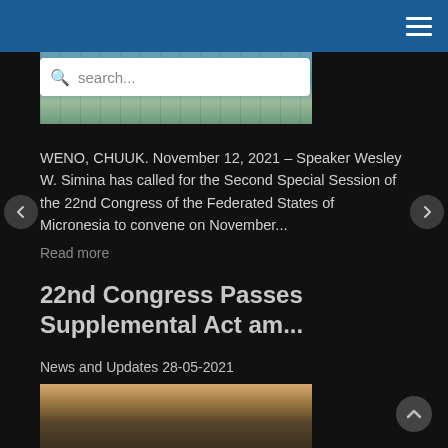Navigation bar with hamburger menu
[Figure (photo): Hero image / banner photo at top of page, partially visible behind search bar]
search...
WENO, CHUUK. November 12, 2021 – Speaker Wesley W. Simina has called for the Second Special Session of the 22nd Congress of the Federated States of Micronesia to convene on November...
Read more
22nd Congress Passes Supplemental Act am...
News and Updates 28-05-2021
[Figure (photo): Photo of a congressional meeting room with people seated around tables, UN flag visible, well-lit interior]